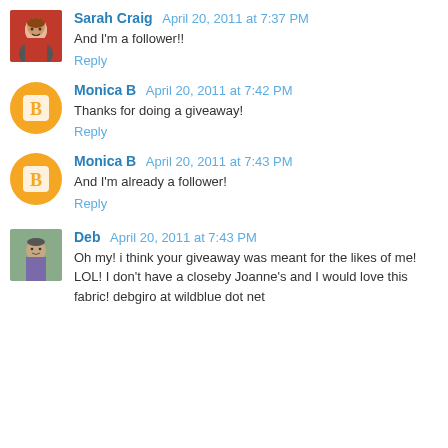Sarah Craig April 20, 2011 at 7:37 PM
And I'm a follower!!
Reply
Monica B April 20, 2011 at 7:42 PM
Thanks for doing a giveaway!
Reply
Monica B April 20, 2011 at 7:43 PM
And I'm already a follower!
Reply
Deb April 20, 2011 at 7:43 PM
Oh my! i think your giveaway was meant for the likes of me! LOL! I don't have a closeby Joanne's and I would love this fabric! debgiro at wildblue dot net